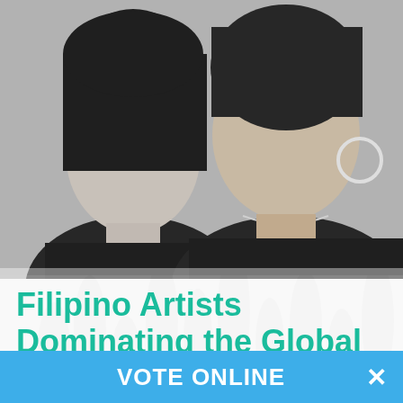[Figure (photo): Black and white photo of two women posing together, one with straight dark hair, the other with curly hair wearing hoop earrings and a chain necklace]
Filipino Artists Dominating the Global Music Industry
By Jakaria Mahmud
...
Read More
VOTE ONLINE